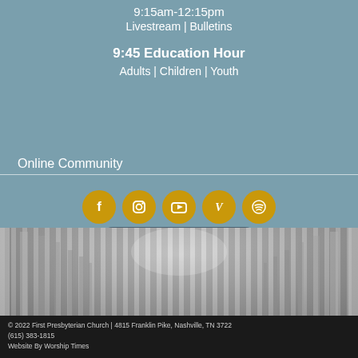9:15am-12:15pm
Livestream | Bulletins
9:45 Education Hour
Adults | Children | Youth
Online Community
[Figure (infographic): Five golden circular social media icons: Facebook, Instagram, YouTube, Vimeo, Spotify]
SUBSCRIBE
[Figure (photo): Black and white photo of a long hallway with columns receding into the distance]
© 2022 First Presbyterian Church | 4815 Franklin Pike, Nashville, TN 3722
(615) 383-1815
Website By Worship Times